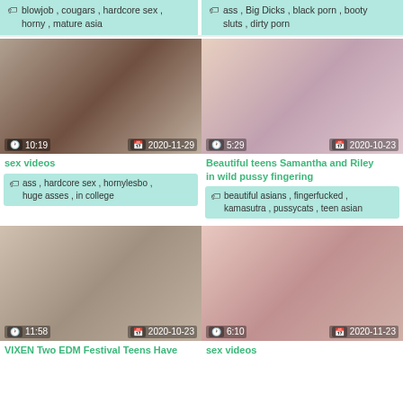blowjob , cougars , hardcore sex , horny , mature asia
ass , Big Dicks , black porn , booty sluts , dirty porn
[Figure (photo): Video thumbnail showing people, duration 10:19, date 2020-11-29]
[Figure (photo): Video thumbnail showing people, duration 5:29, date 2020-10-23]
sex videos
Beautiful teens Samantha and Riley in wild pussy fingering
ass , hardcore sex , hornylesbo , huge asses , in college
beautiful asians , fingerfucked , kamasutra , pussycats , teen asian
[Figure (photo): Video thumbnail showing people, duration 11:58, date 2020-10-23]
[Figure (photo): Video thumbnail showing people, duration 6:10, date 2020-11-23]
VIXEN Two EDM Festival Teens Have
sex videos